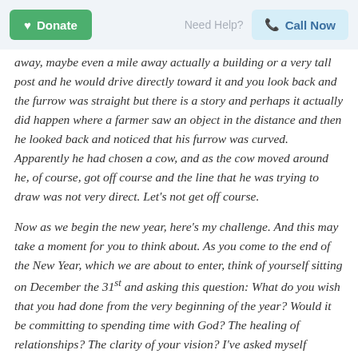Donate  Need Help?  Call Now
away, maybe even a mile away actually a building or a very tall post and he would drive directly toward it and you look back and the furrow was straight but there is a story and perhaps it actually did happen where a farmer saw an object in the distance and then he looked back and noticed that his furrow was curved. Apparently he had chosen a cow, and as the cow moved around he, of course, got off course and the line that he was trying to draw was not very direct. Let’s not get off course.
Now as we begin the new year, here’s my challenge. And this may take a moment for you to think about. As you come to the end of the New Year, which we are about to enter, think of yourself sitting on December the 31st and asking this question: What do you wish that you had done from the very beginning of the year? Would it be committing to spending time with God? The healing of relationships? The clarity of your vision? I’ve asked myself